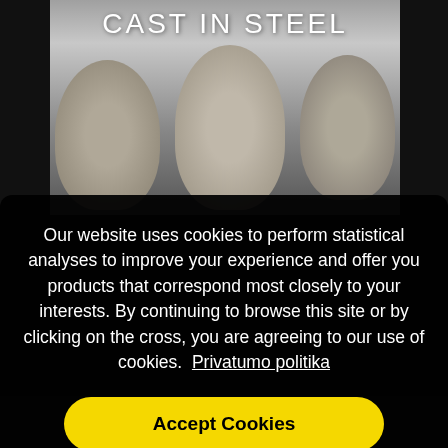[Figure (photo): Black and white album cover photo showing three men facing the camera with text 'CAST IN STEEL' at the top]
Our website uses cookies to perform statistical analyses to improve your experience and offer you products that correspond most closely to your interests. By continuing to browse this site or by clicking on the cross, you are agreeing to our use of cookies. Privatumo politika
Accept Cookies